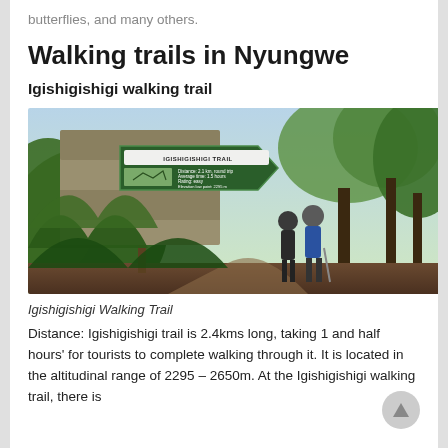butterflies, and many others.
Walking trails in Nyungwe
Igishigishigi walking trail
[Figure (photo): Photo of the Igishigishigi Trail sign in Nyungwe forest with two hikers standing beneath it, surrounded by lush green tropical vegetation. The sign shows trail details: Distance 2.1 km round trip, Average time 1.5 hours, Rating: easy, Elevation low point 2295m, Elevation high point 2400m, Elevation gain 205m.]
Igishigishigi Walking Trail
Distance: Igishigishigi trail is 2.4kms long, taking 1 and half hours' for tourists to complete walking through it. It is located in the altitudinal range of 2295 - 2650m. At the Igishigishigi walking trail, there is